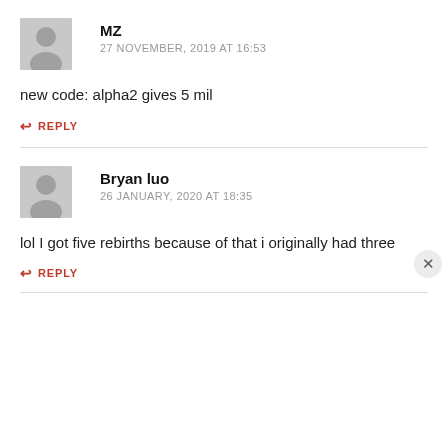MZ
27 NOVEMBER, 2019 AT 16:53
new code: alpha2 gives 5 mil
REPLY
Bryan luo
26 JANUARY, 2020 AT 18:35
lol I got five rebirths because of that i originally had three
REPLY